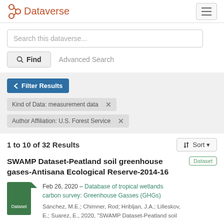Dataverse
Search this dataverse...
Find   Advanced Search
Filter Results
Kind of Data: measurement data ×
Author Affiliation: U.S. Forest Service ×
1 to 10 of 32 Results
Sort
SWAMP Dataset-Peatland soil greenhouse gases-Antisana Ecological Reserve-2014-16
Dataset
Feb 26, 2020 – Database of tropical wetlands carbon survey: Greenhouse Gasses (GHGs)
Sánchez, M.E.; Chimner, Rod; Hribljan, J.A.; Lilleskov, E.; Suarez, E., 2020, "SWAMP Dataset-Peatland soil